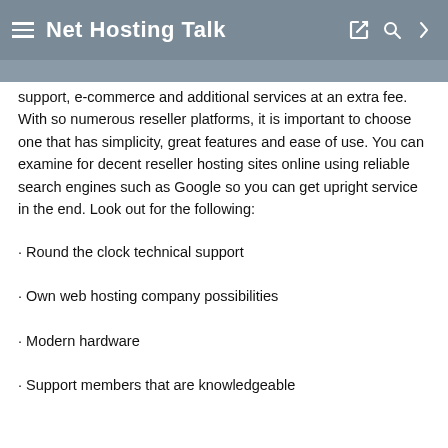Net Hosting Talk
support, e-commerce and additional services at an extra fee. With so numerous reseller platforms, it is important to choose one that has simplicity, great features and ease of use. You can examine for decent reseller hosting sites online using reliable search engines such as Google so you can get upright service in the end. Look out for the following:
· Round the clock technical support
· Own web hosting company possibilities
· Modern hardware
· Support members that are knowledgeable